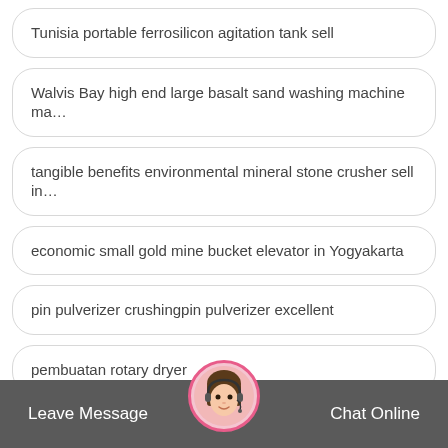Tunisia portable ferrosilicon agitation tank sell
Walvis Bay high end large basalt sand washing machine ma…
tangible benefits environmental mineral stone crusher sell in…
economic small gold mine bucket elevator in Yogyakarta
pin pulverizer crushingpin pulverizer excellent
pembuatan rotary dryer
mechanical decortizenitho…ing of stones
Leave Message   Chat Online